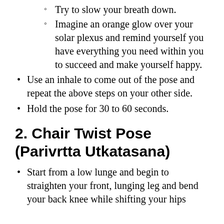Try to slow your breath down.
Imagine an orange glow over your solar plexus and remind yourself you have everything you need within you to succeed and make yourself happy.
Use an inhale to come out of the pose and repeat the above steps on your other side.
Hold the pose for 30 to 60 seconds.
2. Chair Twist Pose (Parivrtta Utkatasana)
Start from a low lunge and begin to straighten your front, lunging leg and bend your back knee while shifting your hips